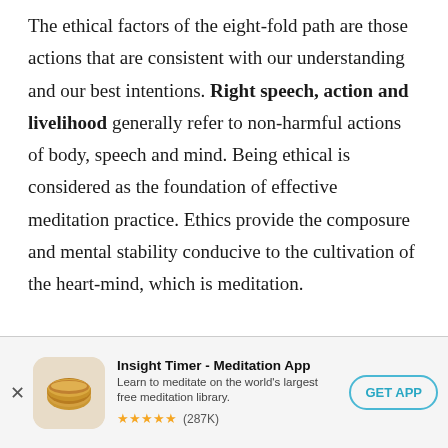The ethical factors of the eight-fold path are those actions that are consistent with our understanding and our best intentions. Right speech, action and livelihood generally refer to non-harmful actions of body, speech and mind. Being ethical is considered as the foundation of effective meditation practice. Ethics provide the composure and mental stability conducive to the cultivation of the heart-mind, which is meditation.

Though much can be written about the ethical factors of the path, they can be summarised by
[Figure (infographic): Advertisement banner for Insight Timer - Meditation App. Shows app icon (golden singing bowl), app name, tagline 'Learn to meditate on the world's largest free meditation library.', 5-star rating (287K reviews), and a GET APP button.]